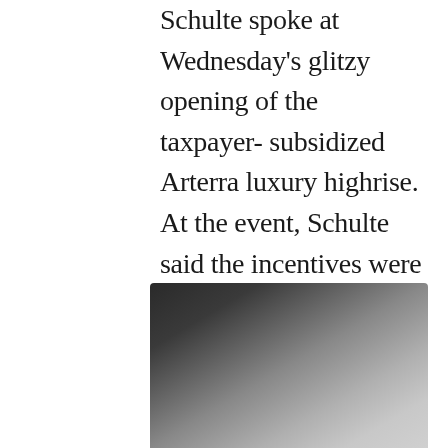Schulte spoke at Wednesday's glitzy opening of the taxpayer- subsidized Arterra luxury highrise. At the event, Schulte said the incentives were needed for the luxury apartment building, because of the history of the site and the required cleanup. "This is what investment does in the urban core," Schulte said. "This is why incentives are so important. And it gets lost in the argument about well we should let the market work."  We agree somewhat, but here is where the City loses its own argument.
[Figure (photo): A blurred/out-of-focus photograph, dark tones in the lower left fading to lighter grey tones toward the right, partially visible at the bottom of the page.]